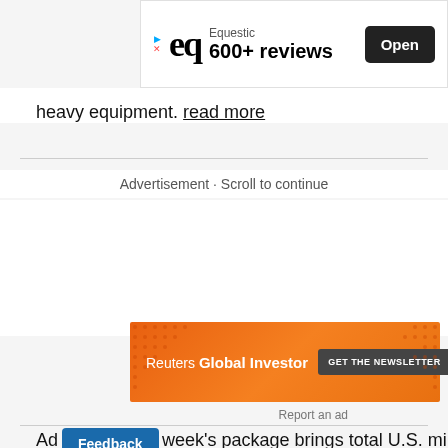[Figure (other): Equestic app advertisement banner with logo and '600+ reviews' text and 'Open' button]
heavy equipment. read more
Advertisement · Scroll to continue
[Figure (other): Reuters Global Investor newsletter advertisement banner in orange with 'GET THE NEWSLETTER' button]
Report an ad
Adding week's package brings total U.S. military
Feedback